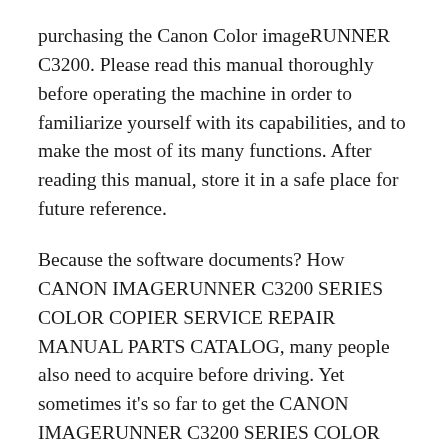purchasing the Canon Color imageRUNNER C3200. Please read this manual thoroughly before operating the machine in order to familiarize yourself with its capabilities, and to make the most of its many functions. After reading this manual, store it in a safe place for future reference.
Because the software documents? How CANON IMAGERUNNER C3200 SERIES COLOR COPIER SERVICE REPAIR MANUAL PARTS CATALOG, many people also need to acquire before driving. Yet sometimes it's so far to get the CANON IMAGERUNNER C3200 SERIES COLOR COPIER SERVICE REPAIR MANUAL PARTS CATALOG book, also in various other countries or cities. So,